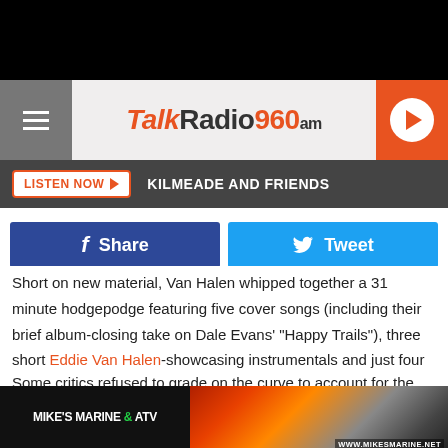[Figure (screenshot): TalkRadio960am website header with hamburger menu, logo, and orange play button]
LISTEN NOW ▶   KILMEADE AND FRIENDS
[Figure (infographic): Facebook Share button (dark blue) and Twitter Tweet button (light blue)]
Short on new material, Van Halen whipped together a 31 minute hodgepodge featuring five cover songs (including their brief album-closing take on Dale Evans' "Happy Trails"), three short Eddie Van Halen-showcasing instrumentals and just four full-length original songs.
Some critics refused to grade on the curve to account for the rushed recording schedule, criticizing the album's lack of
[Figure (photo): Mike's Marine & ATV advertisement banner with logo and ATVs image, URL www.mikesmarine.net]